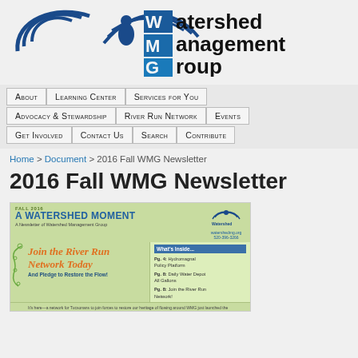[Figure (logo): Watershed Management Group logo with blue WMG circular wave graphic and stylized WMG letters with 'Watershed Management Group' text]
About
Learning Center
Services for You
Advocacy & Stewardship
River Run Network
Events
Get Involved
Contact Us
Search
Contribute
Home > Document > 2016 Fall WMG Newsletter
2016 Fall WMG Newsletter
[Figure (screenshot): Preview of Fall 2016 WMG Newsletter 'A Watershed Moment' showing newsletter cover with 'Join the River Run Network Today And Pledge to Restore the Flow!' in orange italic text, What's Inside section with Pg 4: Hydromagnal Policy Platform, Pg 8: Daily Water Depot All Gallons, Pg 8: Join the River Run Network]